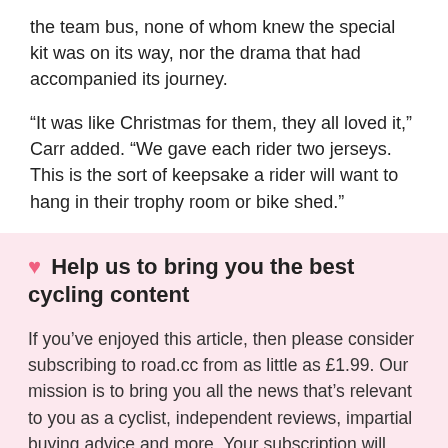the team bus, none of whom knew the special kit was on its way, nor the drama that had accompanied its journey.
“It was like Christmas for them, they all loved it,” Carr added. “We gave each rider two jerseys. This is the sort of keepsake a rider will want to hang in their trophy room or bike shed.”
♥ Help us to bring you the best cycling content
If you’ve enjoyed this article, then please consider subscribing to road.cc from as little as £1.99. Our mission is to bring you all the news that’s relevant to you as a cyclist, independent reviews, impartial buying advice and more. Your subscription will help us to do more.